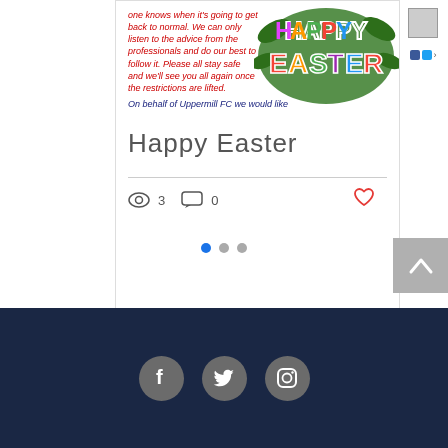one knows when it's going to get back to normal. We can only listen to the advice from the professionals and do our best to follow it. Please all stay safe and we'll see you all again once the restrictions are lifted.
On behalf of Uppermill FC we would like
[Figure (illustration): Colourful Happy Easter text graphic with festive lettering on green background]
Happy Easter
3  0
[Figure (infographic): Pagination dots: three dots, first one filled blue]
[Figure (infographic): Scroll to top button (grey with up arrow chevron)]
[Figure (infographic): Footer with dark navy background and three social media icons: Facebook, Twitter, Instagram]